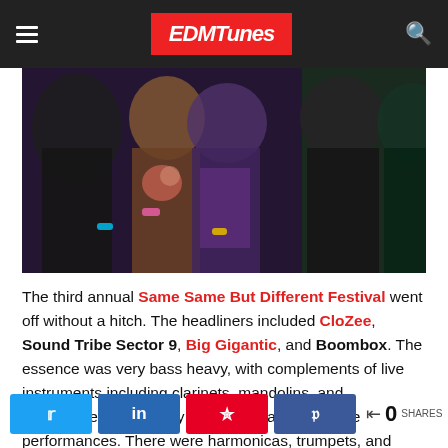EDMTunes
[Figure (photo): Crowd of festival attendees at Same Same But Different Festival, showing people dancing and enjoying the music.]
The third annual Same Same But Different Festival went off without a hitch. The headliners included CloZee, Sound Tribe Sector 9, Big Gigantic, and Boombox. The essence was very bass heavy, with complements of live instruments including clarinets, mandolins, and saxophones. This really adds spice and life to the performances. There were harmonicas, trumpets, and violins all set to the sound of throbbing low frequencies.
0 SHARES